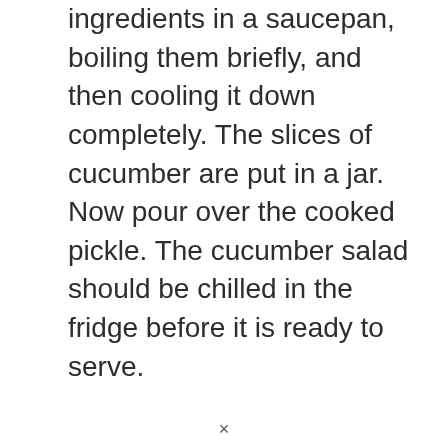ingredients in a saucepan, boiling them briefly, and then cooling it down completely. The slices of cucumber are put in a jar. Now pour over the cooked pickle. The cucumber salad should be chilled in the fridge before it is ready to serve.
×